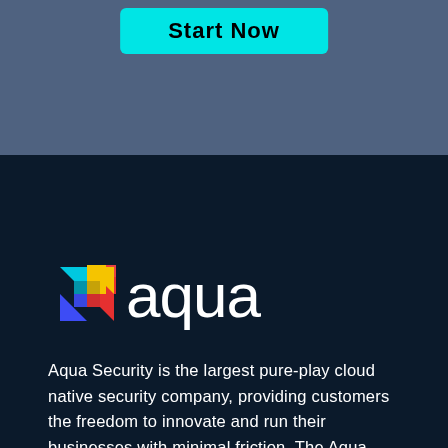[Figure (other): Cyan 'Start Now' button on a steel-blue background]
[Figure (logo): Aqua Security logo: colorful square icon composed of geometric shapes beside the word 'aqua' in white text]
Aqua Security is the largest pure-play cloud native security company, providing customers the freedom to innovate and run their businesses with minimal friction. The Aqua Cloud Native Security Platform